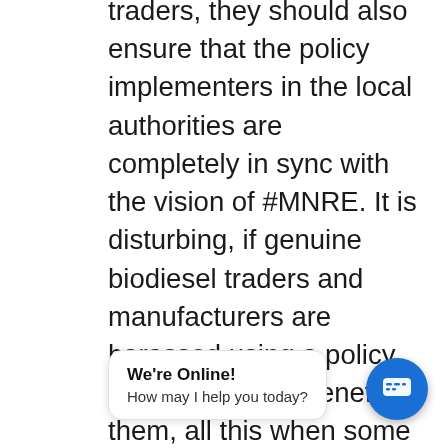traders, they should also ensure that the policy implementers in the local authorities are completely in sync with the vision of #MNRE. It is disturbing, if genuine biodiesel traders and manufacturers are harassed using a policy that is meant to benefit them, all this when some unscrupulous traders from Pune are using brochures and marketing illegal fossil fuel blends as imported diesel.
It is high time that the Indian government bans or restrict imports of all products i… mandate com… biodiesel traders…